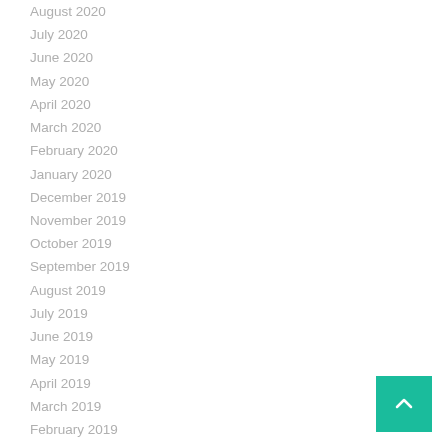August 2020
July 2020
June 2020
May 2020
April 2020
March 2020
February 2020
January 2020
December 2019
November 2019
October 2019
September 2019
August 2019
July 2019
June 2019
May 2019
April 2019
March 2019
February 2019
January 2019
December 2018
November 2018
October 2018
September 2018